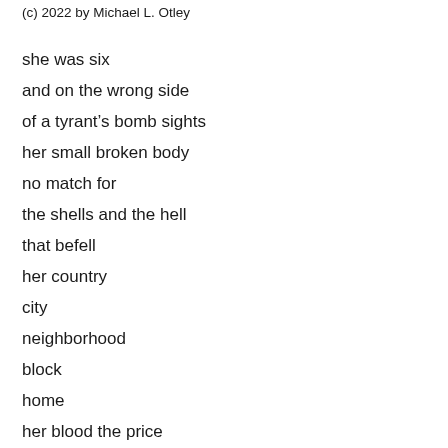(c) 2022 by Michael L. Otley
she was six
and on the wrong side
of a tyrant's bomb sights
her small broken body
no match for
the shells and the hell
that befell
her country
city
neighborhood
block
home
her blood the price
of freedom